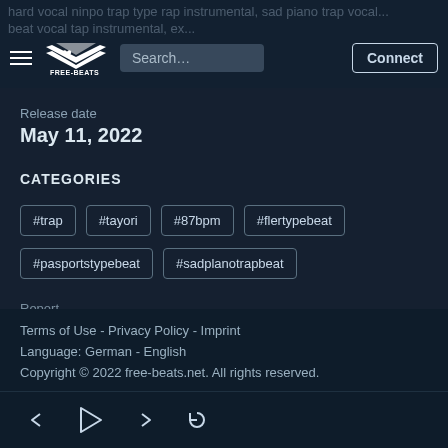hard vocal ninpo trap type rap instrumental, sad piano trap vocal... beat vocal tap instrumental, ex... FREE-BEATS.net | Search... | Connect
Release date
May 11, 2022
CATEGORIES
#trap
#tayori
#87bpm
#flertypebeat
#pasportstypebeat
#sadplanotrapbeat
Report
Terms of Use - Privacy Policy - Imprint
Language: German - English
Copyright © 2022 free-beats.net. All rights reserved.